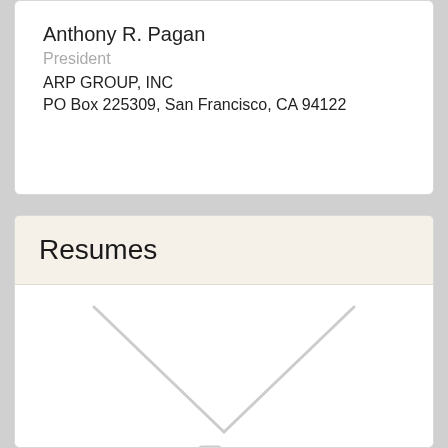Anthony R. Pagan
President
ARP GROUP, INC
PO Box 225309, San Francisco, CA 94122
Resumes
[Figure (illustration): Placeholder image area showing an envelope outline with diagonal fold lines and a camera icon below, indicating no resume document image has been uploaded yet.]